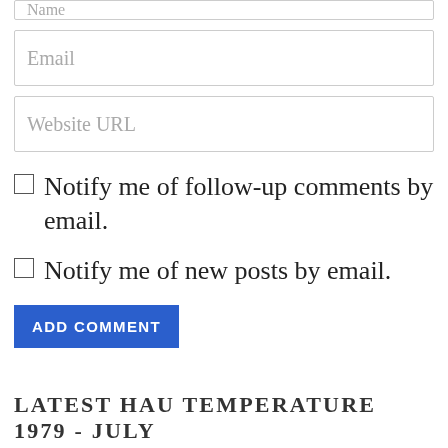Name (input field, partial at top)
Email (input placeholder)
Website URL (input placeholder)
Notify me of follow-up comments by email.
Notify me of new posts by email.
ADD COMMENT
LATEST HAU TEMPERATURE 1979 - JULY